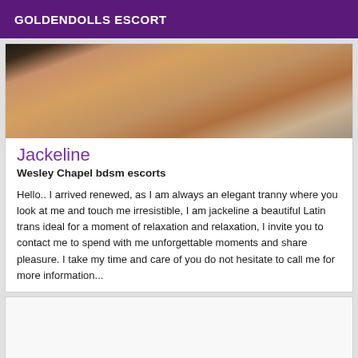GOLDENDOLLS ESCORT
[Figure (photo): Photo of a person, cropped close-up view]
Jackeline
Wesley Chapel bdsm escorts
Hello.. I arrived renewed, as I am always an elegant tranny where you look at me and touch me irresistible, I am jackeline a beautiful Latin trans ideal for a moment of relaxation and relaxation, I invite you to contact me to spend with me unforgettable moments and share pleasure. I take my time and care of you do not hesitate to call me for more information...